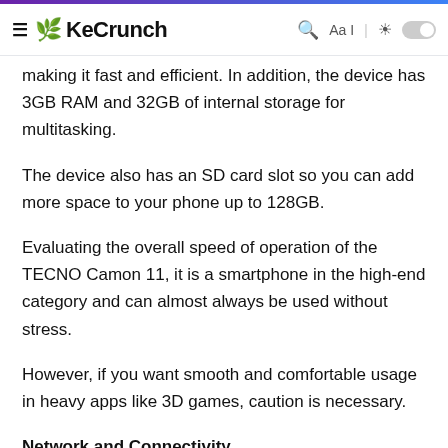KeCrunch
making it fast and efficient. In addition, the device has 3GB RAM and 32GB of internal storage for multitasking.
The device also has an SD card slot so you can add more space to your phone up to 128GB.
Evaluating the overall speed of operation of the TECNO Camon 11, it is a smartphone in the high-end category and can almost always be used without stress.
However, if you want smooth and comfortable usage in heavy apps like 3D games, caution is necessary.
Network and Connectivity
Tecno Camon 11 supports, 2G, 3G, 4G, Bluetooth, WiFi, and